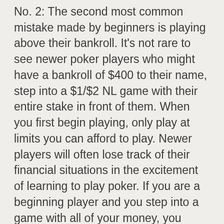No. 2: The second most common mistake made by beginners is playing above their bankroll. It's not rare to see newer poker players who might have a bankroll of $400 to their name, step into a $1/$2 NL game with their entire stake in front of them. When you first begin playing, only play at limits you can afford to play. Newer players will often lose track of their financial situations in the excitement of learning to play poker. If you are a beginning player and you step into a game with all of your money, you might have a very short poker career. It's extremely wise to only play at limits you can afford without risking your entire bankroll at once.
No. 3: The final mistake is not leaving emotion at home. Leaving emotion at the door is an extremely important poker lesson that some players learn the hard way. If you've had a huge fight with your wife and